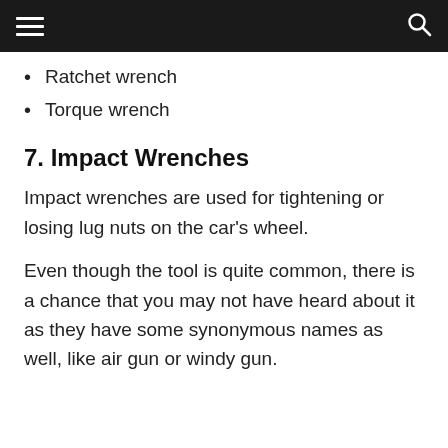Ratchet wrench
Torque wrench
7. Impact Wrenches
Impact wrenches are used for tightening or losing lug nuts on the car's wheel.
Even though the tool is quite common, there is a chance that you may not have heard about it as they have some synonymous names as well, like air gun or windy gun.